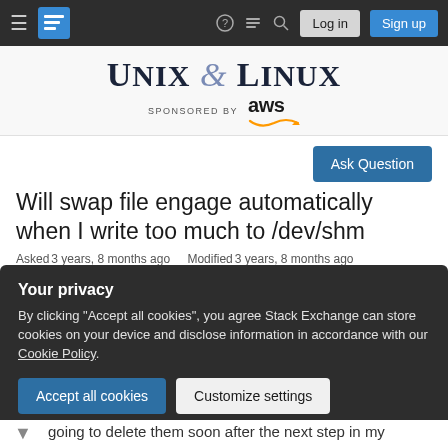Unix & Linux — navigation bar with hamburger menu, logo, help, chat, search, Log in, Sign up
[Figure (logo): Unix & Linux Stack Exchange site header with AWS sponsorship logo]
Ask Question
Will swap file engage automatically when I write too much to /dev/shm
Asked 3 years, 8 months ago   Modified 3 years, 8 months ago
Your privacy
By clicking "Accept all cookies", you agree Stack Exchange can store cookies on your device and disclose information in accordance with our Cookie Policy.
Accept all cookies   Customize settings
going to delete them soon after the next step in my